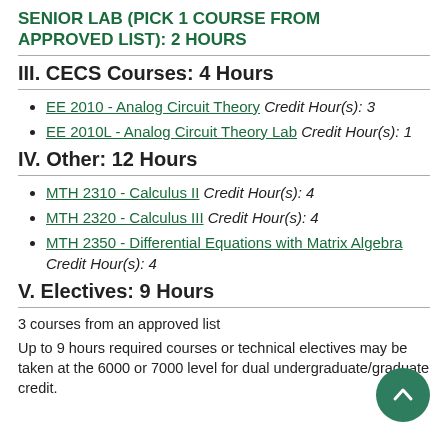SENIOR LAB (PICK 1 COURSE FROM APPROVED LIST): 2 HOURS
III. CECS Courses: 4 Hours
EE 2010 - Analog Circuit Theory Credit Hour(s): 3
EE 2010L - Analog Circuit Theory Lab Credit Hour(s): 1
IV. Other: 12 Hours
MTH 2310 - Calculus II Credit Hour(s): 4
MTH 2320 - Calculus III Credit Hour(s): 4
MTH 2350 - Differential Equations with Matrix Algebra Credit Hour(s): 4
V. Electives: 9 Hours
3 courses from an approved list
Up to 9 hours required courses or technical electives may be taken at the 6000 or 7000 level for dual undergraduate/graduate credit.